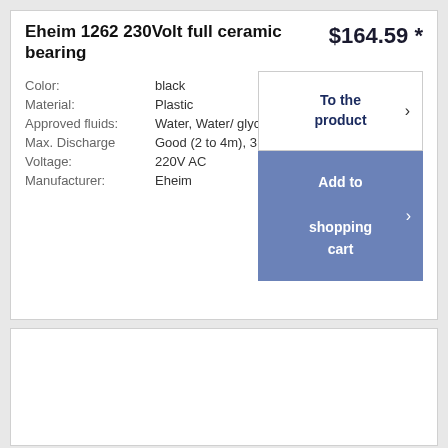Eheim 1262 230Volt full ceramic bearing
$164.59 *
| Property | Value |
| --- | --- |
| Color: | black |
| Material: | Plastic |
| Approved fluids: | Water, Water/ glycol |
| Max. Discharge | Good (2 to 4m), 3,6m |
| Voltage: | 220V AC |
| Manufacturer: | Eheim |
To the product
Add to shopping cart